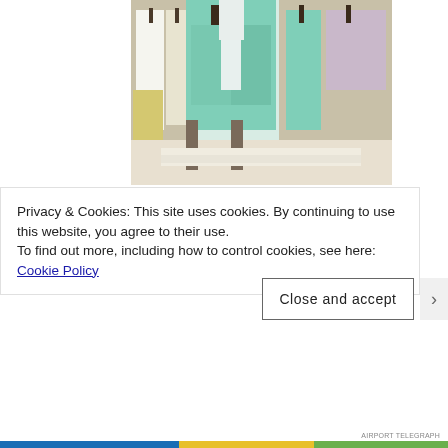[Figure (photo): Photo of clothing items on hangers on a display rack, including mint/teal colored jackets and white garments in what appears to be a boutique or fashion showroom.]
[Figure (photo): Partial photo showing clothing hangers on a metal rack, partially obscured by cookie consent banner.]
Privacy & Cookies: This site uses cookies. By continuing to use this website, you agree to their use.
To find out more, including how to control cookies, see here: Cookie Policy
Close and accept